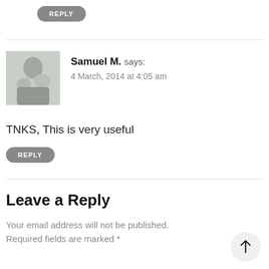REPLY
Samuel M. says:
4 March, 2014 at 4:05 am
TNKS, This is very useful
REPLY
Leave a Reply
Your email address will not be published. Required fields are marked *